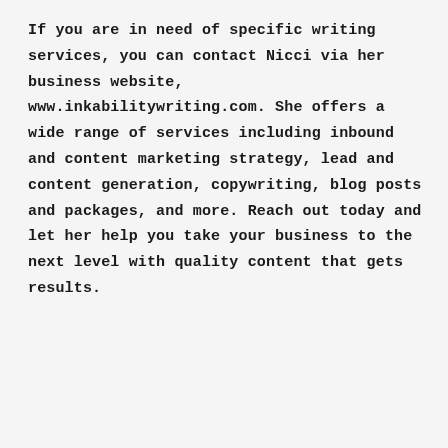If you are in need of specific writing services, you can contact Nicci via her business website, www.inkabilitywriting.com. She offers a wide range of services including inbound and content marketing strategy, lead and content generation, copywriting, blog posts and packages, and more. Reach out today and let her help you take your business to the next level with quality content that gets results.